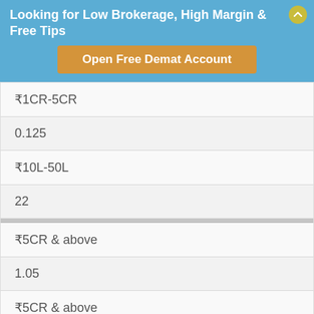Looking for Low Brokerage, High Margin & Free Tips
Open Free Demat Account
| ₹1CR-5CR |
| 0.125 |
| ₹10L-50L |
| 22 |
| ₹5CR & above |
| 1.05 |
| ₹5CR & above |
| 0.105 |
| ₹50L & above |